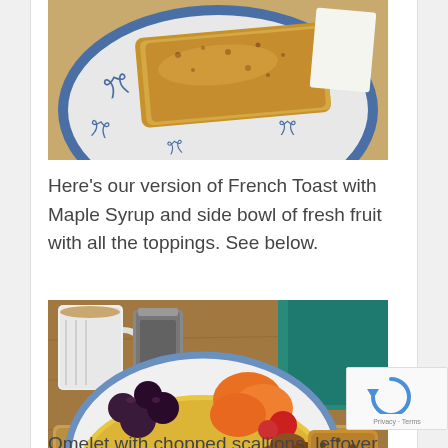[Figure (photo): Top portion of a photo showing French Toast on a blue and white decorative plate, with a topping visible, on a wooden tray]
Here’s our version of French Toast with Maple Syrup and side bowl of fresh fruit with all the toppings. See below.
[Figure (photo): A plate with an omelet, fresh fruit (orange slices, dark cherries/berries), and a piece of toast on a wooden board. A white mug and metal French press are visible in the background along with a teal/green item.]
Omelet with chopped scallions, leftover